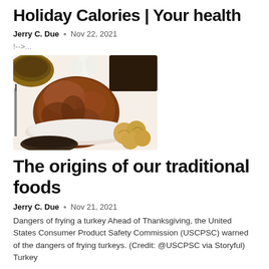Holiday Calories | Your health
Jerry C. Due • Nov 22, 2021
!-->...
[Figure (photo): A roasted turkey on a platter surrounded by other Thanksgiving dishes including rolls and pies on a table.]
The origins of our traditional foods
Jerry C. Due • Nov 21, 2021
Dangers of frying a turkey Ahead of Thanksgiving, the United States Consumer Product Safety Commission (USCPSC) warned of the dangers of frying turkeys. (Credit: @USCPSC via Storyful) Turkey